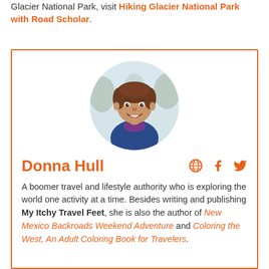Glacier National Park, visit Hiking Glacier National Park with Road Scholar.
[Figure (photo): Circular portrait photo of Donna Hull, a woman with short brown hair, smiling, wearing a blue jacket with purple scarf, outdoors.]
Donna Hull
A boomer travel and lifestyle authority who is exploring the world one activity at a time. Besides writing and publishing My Itchy Travel Feet, she is also the author of New Mexico Backroads Weekend Adventure and Coloring the West, An Adult Coloring Book for Travelers.